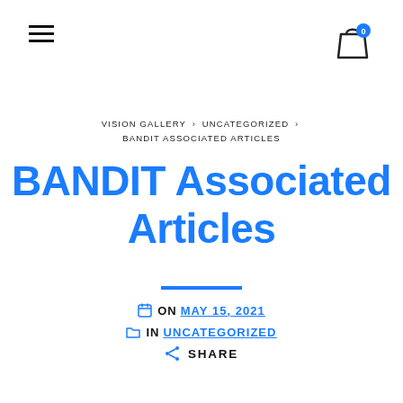≡   [cart icon with badge 0]
VISION GALLERY > UNCATEGORIZED > BANDIT ASSOCIATED ARTICLES
BANDIT Associated Articles
ON MAY 15, 2021
IN UNCATEGORIZED
SHARE